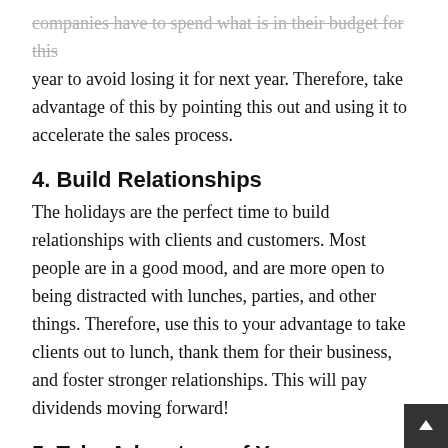companies have to spend what is in their budget for this year to avoid losing it for next year. Therefore, take advantage of this by pointing this out and using it to accelerate the sales process.
4. Build Relationships
The holidays are the perfect time to build relationships with clients and customers. Most people are in a good mood, and are more open to being distracted with lunches, parties, and other things. Therefore, use this to your advantage to take clients out to lunch, thank them for their business, and foster stronger relationships. This will pay dividends moving forward!
5. Take Advantage of Your Competition
The holidays are a great time to take advantage of your competition by outworking them! While they are making